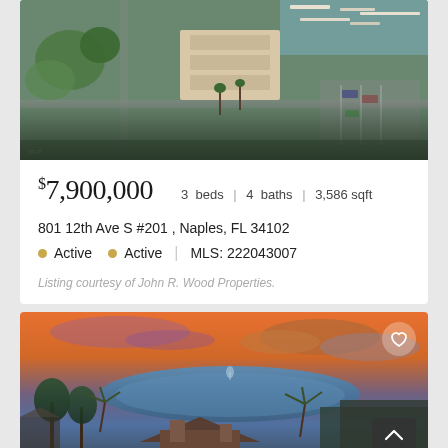[Figure (photo): Aerial view of luxury waterfront condominium complex with marina, palm trees, parking lots, and green landscaping in Naples, Florida]
$7,900,000   3 beds | 4 baths | 3,586 sqft
801 12th Ave S #201 , Naples, FL 34102
● Active  ● Active | MLS: 222043007
Listing courtesy of John R. Wood Properties.
[Figure (photo): Aerial drone photo at sunset of luxury estate with lake/pond, palm trees, and surrounding neighborhood in Naples, Florida. Orange and purple sunset sky.]